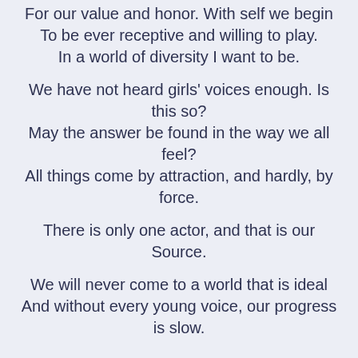For our value and honor. With self we begin
To be ever receptive and willing to play.
In a world of diversity I want to be.

We have not heard girls' voices enough. Is this so?
May the answer be found in the way we all feel?
All things come by attraction, and hardly, by force.

There is only one actor, and that is our Source.

We will never come to a world that is ideal
And without every young voice, our progress is slow.
This entry was posted on June 23, 2018, in Feminine and tagged alternate reality, blogging, commentary, creative writing, deep thought, divine feminine, duality,